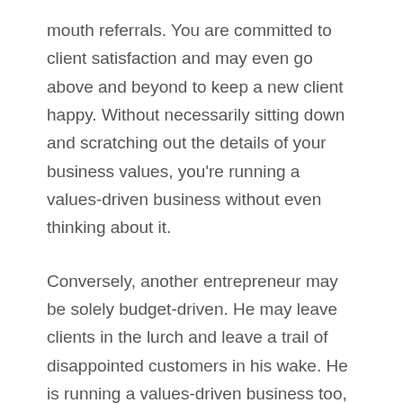mouth referrals. You are committed to client satisfaction and may even go above and beyond to keep a new client happy. Without necessarily sitting down and scratching out the details of your business values, you're running a values-driven business without even thinking about it.
Conversely, another entrepreneur may be solely budget-driven. He may leave clients in the lurch and leave a trail of disappointed customers in his wake. He is running a values-driven business too, based strictly on volume and sales. The results could be devastating to his business.
What are your business values?